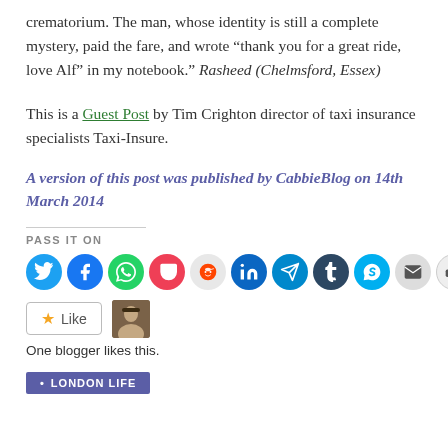crematorium. The man, whose identity is still a complete mystery, paid the fare, and wrote “thank you for a great ride, love Alf” in my notebook.” Rasheed (Chelmsford, Essex)
This is a Guest Post by Tim Crighton director of taxi insurance specialists Taxi-Insure.
A version of this post was published by CabbieBlog on 14th March 2014
PASS IT ON
[Figure (infographic): Row of social media share buttons: Twitter, Facebook, WhatsApp, Pocket, Reddit, LinkedIn, Telegram, Tumblr, Skype, Email, Print]
[Figure (infographic): Like button with star icon and blogger avatar thumbnail]
One blogger likes this.
LONDON LIFE